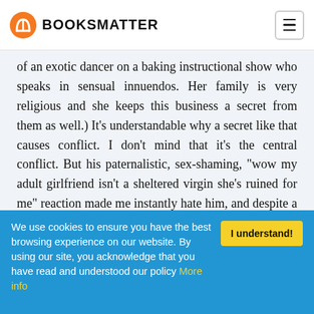BOOKSMATTER
of an exotic dancer on a baking instructional show who speaks in sensual innuendos. Her family is very religious and she keeps this business a secret from them as well.) It’s understandable why a secret like that causes conflict. I don’t mind that it’s the central conflict. But his paternalistic, sex-shaming, “wow my adult girlfriend isn’t a sheltered virgin she’s ruined for me” reaction made me instantly hate him, and despite a whole lot of
We use cookies to ensure you have the best browsing experience on our website. By using our site, you acknowledge that you have read and understood our policy More info